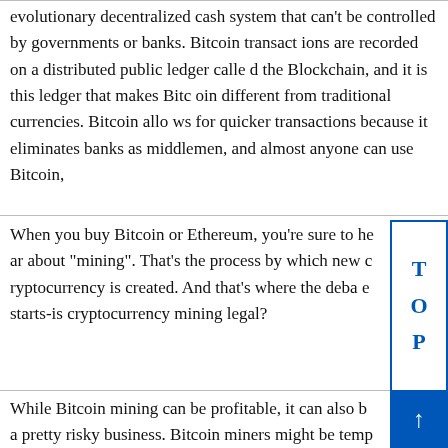evolutionary decentralized cash system that can't be controlled by governments or banks. Bitcoin transactions are recorded on a distributed public ledger called the Blockchain, and it is this ledger that makes Bitcoin different from traditional currencies. Bitcoin allows for quicker transactions because it eliminates banks as middlemen, and almost anyone can use Bitcoin,
When you buy Bitcoin or Ethereum, you're sure to hear about "mining". That's the process by which new cryptocurrency is created. And that's where the debate starts-is cryptocurrency mining legal?
While Bitcoin mining can be profitable, it can also be a pretty risky business. Bitcoin miners might be tempted to go the legal route and rent out their equipment and energy. However, these days there is plenty of research into whether it is legal or not. The debate about whether cryptocurrency mining is legal has been raging for years-and it has recently reached a boilin